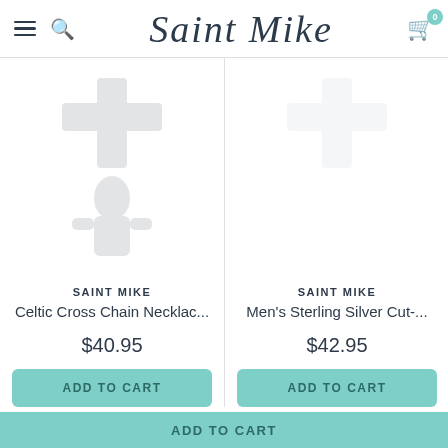Saint Mike — navigation header with hamburger menu, search icon, logo, and cart (0)
[Figure (photo): Product image placeholder — faint watermark cross/figure on white background, left product card]
[Figure (photo): Product image placeholder — white background, right product card (mostly blank)]
SAINT MIKE
Celtic Cross Chain Necklac...
$40.95
ADD TO CART
SAINT MIKE
Men's Sterling Silver Cut-...
$42.95
ADD TO CART
ADD TO CART